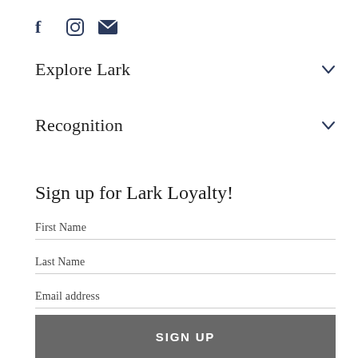[Figure (other): Social media icons: Facebook (f), Instagram (circle camera), Email (envelope)]
Explore Lark
Recognition
Sign up for Lark Loyalty!
First Name
Last Name
Email address
SIGN UP